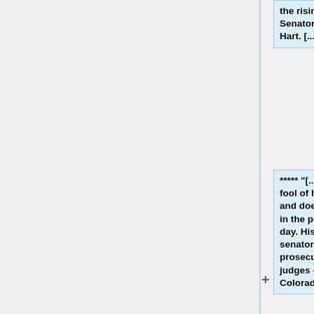the rising star of the Junior Senator from Colorado, Gary Hart. [...]"}
***** "[...] Though Hart made a fool of himself, Haddon didn't – and doesn't. He remains active in the politics of Colorado to this day. His access to governors, senators, legislators, prosecutors and judges – yes, judges – is unparalleled in Colorado